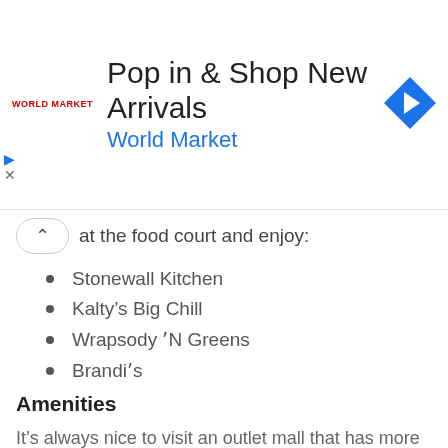[Figure (infographic): World Market advertisement banner with logo, title 'Pop in & Shop New Arrivals', subtitle 'World Market', and a blue navigation arrow icon on the right]
at the food court and enjoy:
Stonewall Kitchen
Kalty’s Big Chill
Wrapsody ʼN Greens
Brandiʼs
Amenities
It’s always nice to visit an outlet mall that has more than just shops. When you have things that can make life more convenient, it makes the little things in life much better. Here are some of the things that the outlet mall has: